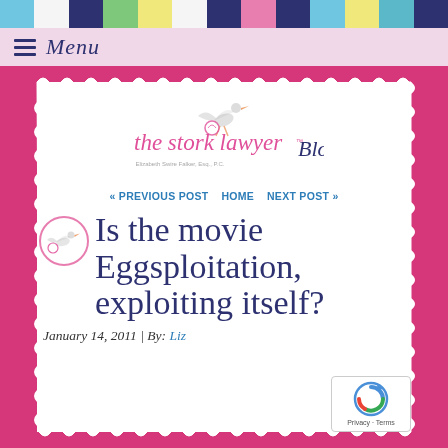[Figure (other): Colorful horizontal stripe bar at top with blocks of blue, green, yellow, navy, pink, light blue, yellow-green, aqua, dark navy colors]
≡ Menu
[Figure (logo): The Stork Lawyer Blog logo with stork illustration, pink cursive text and navy 'Blog' script. Subtitle: Elizabeth Swire Falker, Esq., P.C.]
« PREVIOUS POST   HOME   NEXT POST »
Is the movie Eggsploitation, exploiting itself?
January 14, 2011 | By: Liz